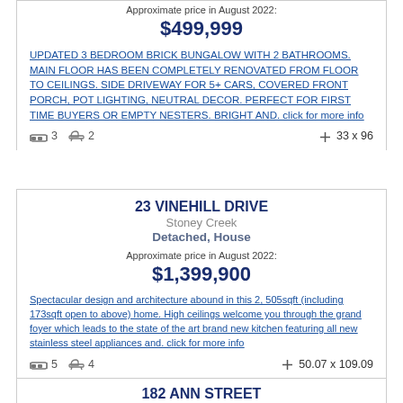Approximate price in August 2022:
$499,999
UPDATED 3 BEDROOM BRICK BUNGALOW WITH 2 BATHROOMS. MAIN FLOOR HAS BEEN COMPLETELY RENOVATED FROM FLOOR TO CEILINGS. SIDE DRIVEWAY FOR 5+ CARS, COVERED FRONT PORCH, POT LIGHTING, NEUTRAL DECOR. PERFECT FOR FIRST TIME BUYERS OR EMPTY NESTERS. BRIGHT AND. click for more info
Beds: 3  Baths: 2  Lot: 33 x 96
23 VINEHILL DRIVE
Stoney Creek
Detached, House
Approximate price in August 2022:
$1,399,900
Spectacular design and architecture abound in this 2, 505sqft (including 173sqft open to above) home. High ceilings welcome you through the grand foyer which leads to the state of the art brand new kitchen featuring all new stainless steel appliances and. click for more info
Beds: 5  Baths: 4  Lot: 50.07 x 109.09
182 ANN STREET
Ingersoll
Detached-2 Level, House